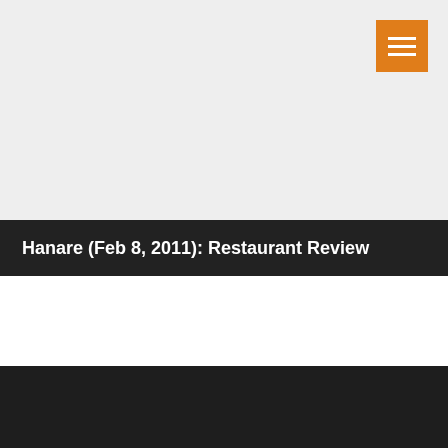[Figure (other): Orange hamburger menu button icon in the top-right corner on a light gray background]
Hanare (Feb 8, 2011): Restaurant Review
Contact Us :